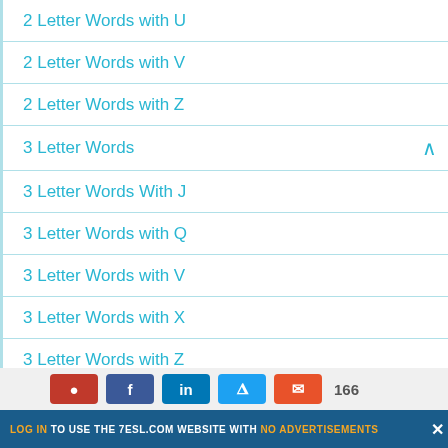2 Letter Words with U
2 Letter Words with V
2 Letter Words with Z
3 Letter Words
3 Letter Words With J
3 Letter Words with Q
3 Letter Words with V
3 Letter Words with X
3 Letter Words with Z
4 Letter Words
4 Letter Words Starting with A
LOG IN TO USE THE 7ESL.COM WEBSITE WITH NO ADVERTISEMENTS